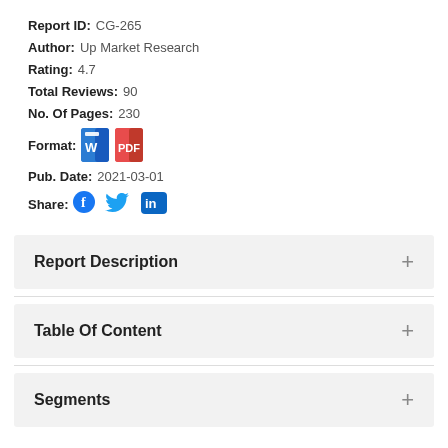Report ID: CG-265
Author: Up Market Research
Rating: 4.7
Total Reviews: 90
No. Of Pages: 230
Format: [Word icon] [PDF icon]
Pub. Date: 2021-03-01
Share: [Facebook] [Twitter] [LinkedIn]
Report Description
Table Of Content
Segments